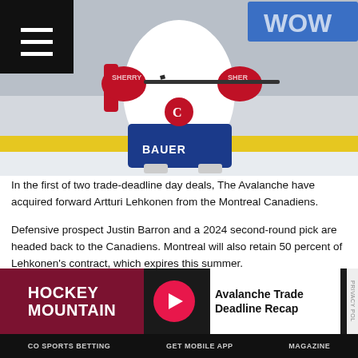[Figure (photo): Hockey player in Montreal Canadiens uniform (white jersey, blue/red details) with Bauer equipment, holding a stick on ice, partial body shot from waist down.]
In the first of two trade-deadline day deals, The Avalanche have acquired forward Artturi Lehkonen from the Montreal Canadiens.
Defensive prospect Justin Barron and a 2024 second-round pick are headed back to the Canadiens. Montreal will also retain 50 percent of Lehkonen's contract, which expires this summer.
In 58 games this season, Lehkonen, 26, has 13 goals and 29 points. He is a pending restricted free agent.
[Figure (screenshot): Advertisement banner: Hockey Mountain logo on dark red background on left, pink/red play button circle in center, 'Avalanche Trade Deadline Recap' text on white/light background on right, with vertical 'PRIVACY' pill on far right.]
CO SPORTS BETTING   GET MOBILE APP   MAGAZINE